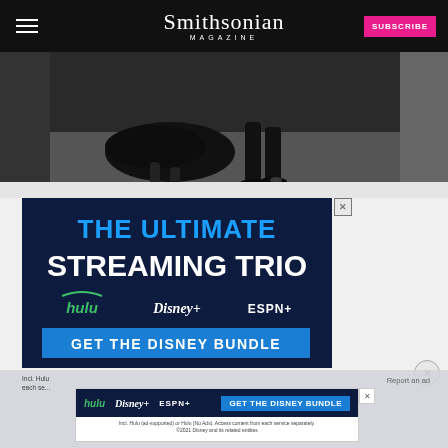Smithsonian MAGAZINE
[Figure (photo): Black and white photo of two dancers' lower bodies, woman in dark flowy dress and man in dark pants and shoes]
[Figure (infographic): Advertisement for Disney Bundle: THE ULTIMATE STREAMING TRIO - hulu, Disney+, ESPN+. GET THE DISNEY BUNDLE button.]
[Figure (infographic): Small sticky bottom ad bar for Disney Bundle featuring hulu, Disney+, ESPN+ logos and GET THE DISNEY BUNDLE button. Incl. Hulu (ad-supported) or Hulu (No Ads). Access content from each service separately. ©2021 Disney and its related entities]
Report an ad